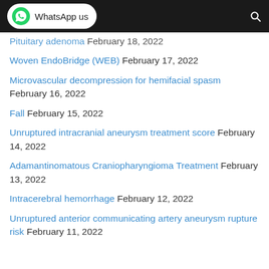WhatsApp us
Pituitary adenoma February 18, 2022
Woven EndoBridge (WEB) February 17, 2022
Microvascular decompression for hemifacial spasm February 16, 2022
Fall February 15, 2022
Unruptured intracranial aneurysm treatment score February 14, 2022
Adamantinomatous Craniopharyngioma Treatment February 13, 2022
Intracerebral hemorrhage February 12, 2022
Unruptured anterior communicating artery aneurysm rupture risk February 11, 2022